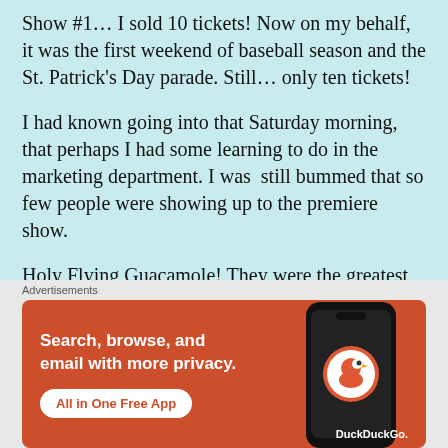Show #1… I sold 10 tickets!  Now on my behalf, it was the first weekend of baseball season and the St. Patrick's Day parade.  Still… only ten tickets!
I had known going into that Saturday morning, that perhaps I had some learning to do in the marketing department.  I was  still bummed that so few people were showing up to the premiere show.
Holy Flying Guacamole!  They were the greatest ten people to ever participate in a show.  We took on the challenge of going to the Land of Imagination with…
Advertisements
[Figure (other): DuckDuckGo advertisement banner with orange background. Text reads 'Search, browse, and email with more privacy.' with button 'All in One Free App' and DuckDuckGo logo with phone graphic.]